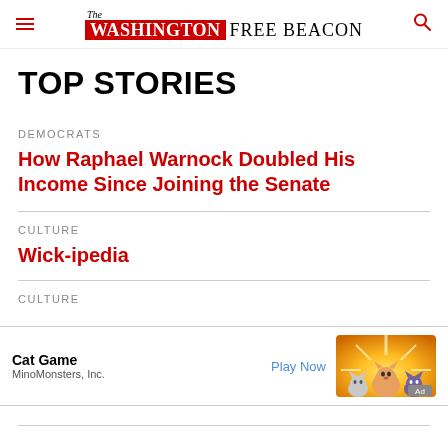The Washington Free Beacon
TOP STORIES
DEMOCRATS
How Raphael Warnock Doubled His Income Since Joining the Senate
CULTURE
Wick-ipedia
CULTURE
[Figure (other): Advertisement for Cat Game by MinoMonsters, Inc. with Play Now button and cartoon cat characters image.]